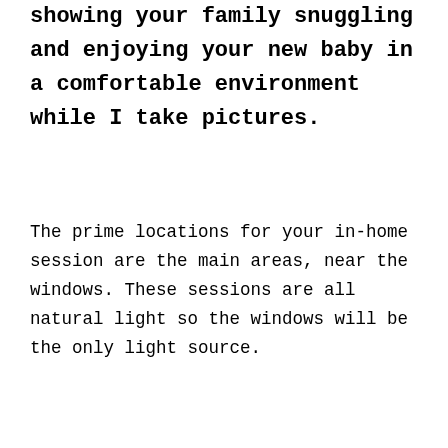showing your family snuggling and enjoying your new baby in a comfortable environment while I take pictures.
The prime locations for your in-home session are the main areas, near the windows. These sessions are all natural light so the windows will be the only light source.